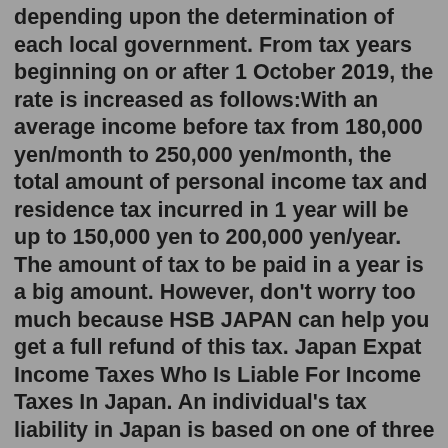depending upon the determination of each local government. From tax years beginning on or after 1 October 2019, the rate is increased as follows:With an average income before tax from 180,000 yen/month to 250,000 yen/month, the total amount of personal income tax and residence tax incurred in 1 year will be up to 150,000 yen to 200,000 yen/year. The amount of tax to be paid in a year is a big amount. However, don't worry too much because HSB JAPAN can help you get a full refund of this tax. Japan Expat Income Taxes Who Is Liable For Income Taxes In Japan. An individual's tax liability in Japan is based on one of three residency categories: permanent residence, non-permanent residence and non-residence. Any Japanese national or foreign national who resides in the country for at least 5 of the last 10 years is a permanent resident.Yes, there is income tax in Japan. Gaba deducts a flat 10.21% of monthly earnings for this purpose. What this means is that instructors can expect to take home almost 100% of their gross earnings on a monthly basis (10% consumption